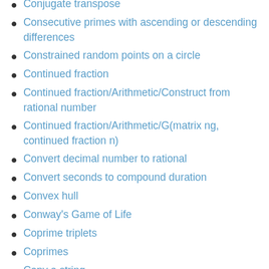Conjugate transpose
Consecutive primes with ascending or descending differences
Constrained random points on a circle
Continued fraction
Continued fraction/Arithmetic/Construct from rational number
Continued fraction/Arithmetic/G(matrix ng, continued fraction n)
Convert decimal number to rational
Convert seconds to compound duration
Convex hull
Conway's Game of Life
Coprime triplets
Coprimes
Copy a string
Copy stdin to stdout
Count how many vowels and consonants occur in a string
Count in factors
Count in octal
Count occurrences of a substring
Count the coins